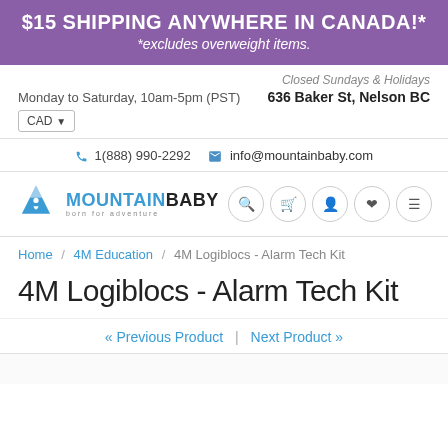$15 SHIPPING ANYWHERE IN CANADA!* *excludes overweight items.
Closed Sundays & Holidays
Monday to Saturday, 10am-5pm (PST)   636 Baker St, Nelson BC
CAD
1(888) 990-2292   info@mountainbaby.com
[Figure (logo): MountainBaby logo with blue mountain/person icon and text MOUNTAINBABY born for adventure]
Home / 4M Education / 4M Logiblocs - Alarm Tech Kit
4M Logiblocs - Alarm Tech Kit
« Previous Product  |  Next Product »